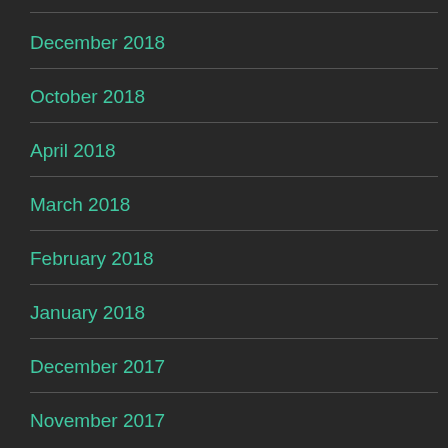December 2018
October 2018
April 2018
March 2018
February 2018
January 2018
December 2017
November 2017